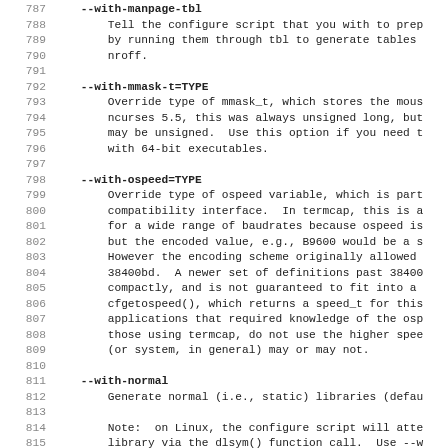787 --with-manpage-tbl
788     Tell the configure script that you with to prep
789     by running them through tbl to generate tables
790     nroff.
791
792 --with-mmask-t=TYPE
793     Override type of mmask_t, which stores the mous
794     ncurses 5.5, this was always unsigned long, but
795     may be unsigned.  Use this option if you need t
796     with 64-bit executables.
797
798 --with-ospeed=TYPE
799     Override type of ospeed variable, which is part
800     compatibility interface.  In termcap, this is a
801     for a wide range of baudrates because ospeed is
802     but the encoded value, e.g., B9600 would be a s
803     However the encoding scheme originally allowed
804     38400bd.  A newer set of definitions past 38400
805     compactly, and is not guaranteed to fit into a
806     cfgetospeed(), which returns a speed_t for this
807     applications that required knowledge of the osp
808     those using termcap, do not use the higher spee
809     (or system, in general) may or may not.
810
811 --with-normal
812     Generate normal (i.e., static) libraries (defau
813
814     Note:  on Linux, the configure script will atte
815     library via the dlsym() function call.  Use --w
816     this feature, or --without-gpm, depending on wh
817     GPM.
818
819 --with-profile